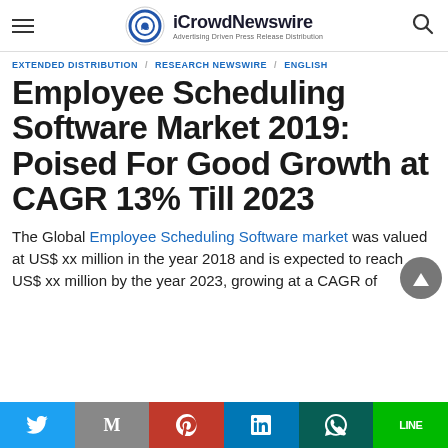iCrowdNewswire — Advertising Driven Press Release Distribution
EXTENDED DISTRIBUTION / RESEARCH NEWSWIRE / ENGLISH
Employee Scheduling Software Market 2019: Poised For Good Growth at CAGR 13% Till 2023
The Global Employee Scheduling Software market was valued at US$ xx million in the year 2018 and is expected to reach US$ xx million by the year 2023, growing at a CAGR of